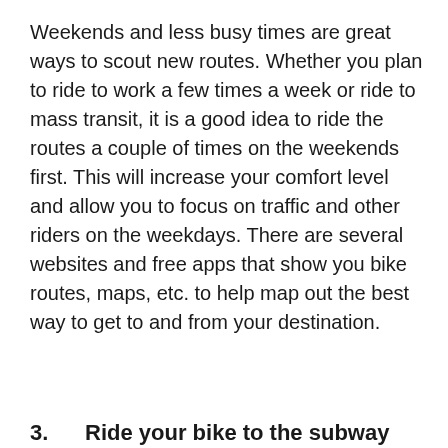Weekends and less busy times are great ways to scout new routes. Whether you plan to ride to work a few times a week or ride to mass transit, it is a good idea to ride the routes a couple of times on the weekends first. This will increase your comfort level and allow you to focus on traffic and other riders on the weekdays. There are several websites and free apps that show you bike routes, maps, etc. to help map out the best way to get to and from your destination.
3.      Ride your bike to the subway